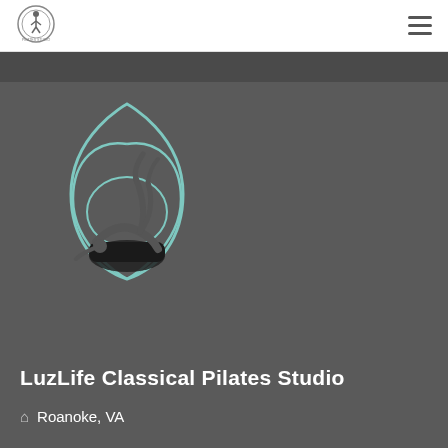[Figure (logo): Circular logo with pilates figure and text around the border, LuzLife Classical Pilates Studio brand mark]
[Figure (illustration): Teal lotus/flower shape outline with a black and white photo of a person performing a Pilates exercise on a spine corrector barrel, legs extended upward]
LuzLife Classical Pilates Studio
Roanoke, VA